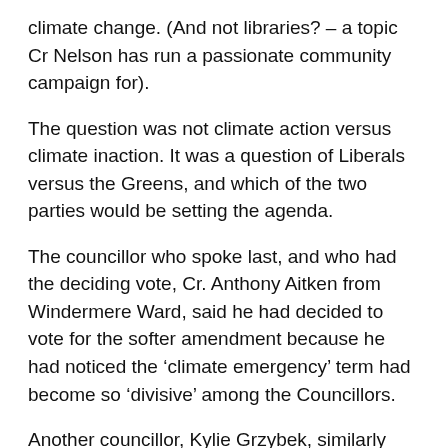climate change. (And not libraries? – a topic Cr Nelson has run a passionate community campaign for).
The question was not climate action versus climate inaction. It was a question of Liberals versus the Greens, and which of the two parties would be setting the agenda.
The councillor who spoke last, and who had the deciding vote, Cr. Anthony Aitken from Windermere Ward, said he had decided to vote for the softer amendment because he had noticed the ‘climate emergency’ term had become so ‘divisive’ among the Councillors.
Another councillor, Kylie Grzybek, similarly stated that the climate emergency message would ‘divide the community’.
“the climate state... the document... The climate state d...